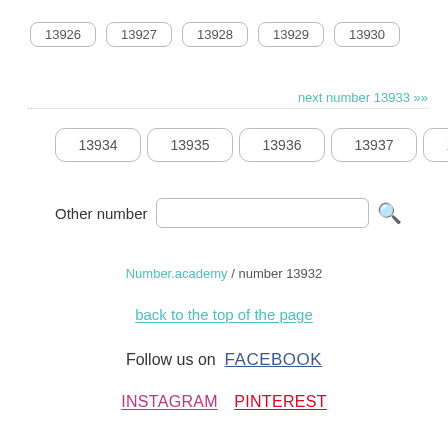13926  13927  13928  13929  13930
next number 13933 »»
13934  13935  13936  13937  13938
Other number [search input]
Number.academy / number 13932
back to the top of the page
Follow us on  FACEBOOK
INSTAGRAM  PINTEREST